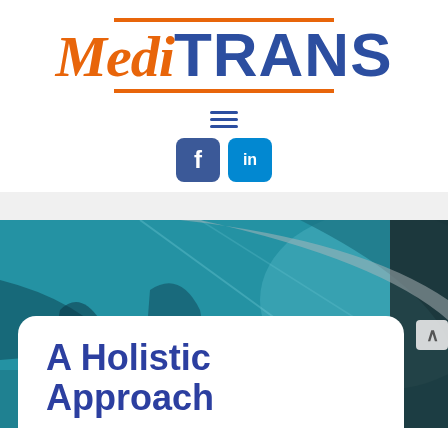[Figure (logo): MediTRANS logo with orange italic 'Medi' and navy bold 'TRANS', orange horizontal bars above and below the text]
[Figure (infographic): Navigation hamburger menu icon and two social media buttons: Facebook (dark blue) and LinkedIn (light blue)]
[Figure (photo): Background photo of a vehicle interior or transit scene with teal/blue tones, partially visible]
A Holistic Approach